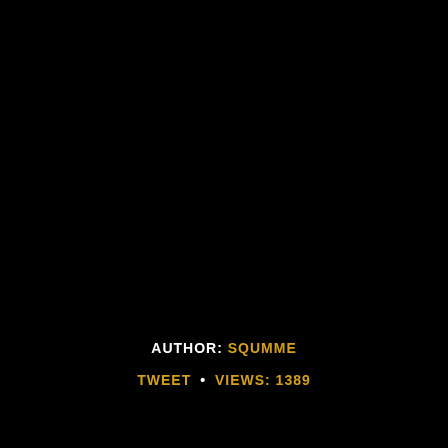AUTHOR: SQUMME
TWEET • VIEWS: 1389